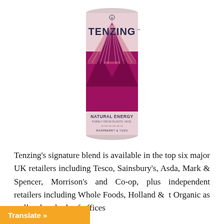[Figure (photo): A slim energy drink can with pink/magenta mountain graphic design. Brand name TENZING in large letters at top. Lower section reads: NATURAL ENERGY, PURELY FROM PLANTS. NICE. with RASPBERRY & YUZU flavor label.]
Tenzing's signature blend is available in the top six major UK retailers including Tesco, Sainsbury's, Asda, Mark & Spencer, Morrison's and Co-op, plus independent retailers including Whole Foods, Holland & [Barrett] [Planet] Organic as well as hundreds of offices